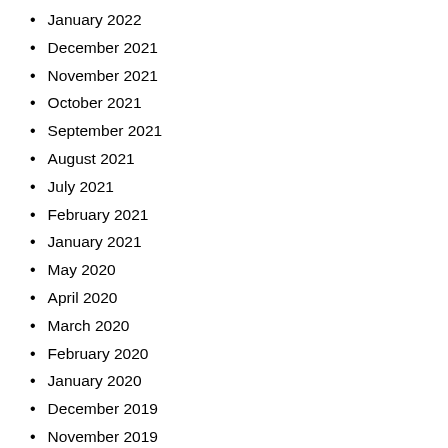January 2022
December 2021
November 2021
October 2021
September 2021
August 2021
July 2021
February 2021
January 2021
May 2020
April 2020
March 2020
February 2020
January 2020
December 2019
November 2019
October 2019
September 2019